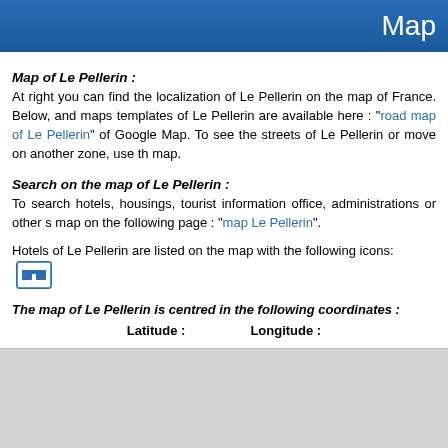Map
Map of Le Pellerin :
At right you can find the localization of Le Pellerin on the map of France. Below, and maps templates of Le Pellerin are available here : "road map of Le Pellerin" of Google Map. To see the streets of Le Pellerin or move on another zone, use the map.
Search on the map of Le Pellerin :
To search hotels, housings, tourist information office, administrations or other s map on the following page : "map Le Pellerin".
Hotels of Le Pellerin are listed on the map with the following icons:
The map of Le Pellerin is centred in the following coordinates :
Latitude :                    Longitude :